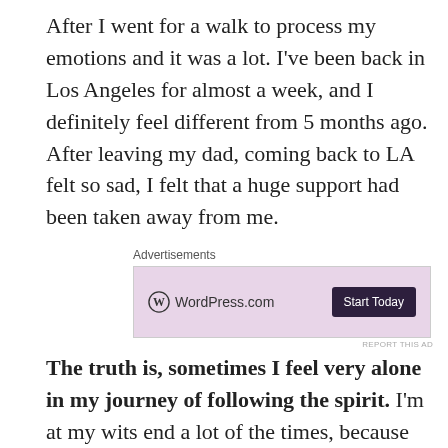After I went for a walk to process my emotions and it was a lot. I've been back in Los Angeles for almost a week, and I definitely feel different from 5 months ago. After leaving my dad, coming back to LA felt so sad, I felt that a huge support had been taken away from me.
[Figure (other): WordPress.com advertisement banner with pink background, WordPress logo, and 'Start Today' button]
The truth is, sometimes I feel very alone in my journey of following the spirit. I'm at my wits end a lot of the times, because I'm led to do things that are crazy, unconventional, wild, scary, and I feel alone a lot of times. I know there are others like me who will stop at the end of the world in following spirit, but I feel like